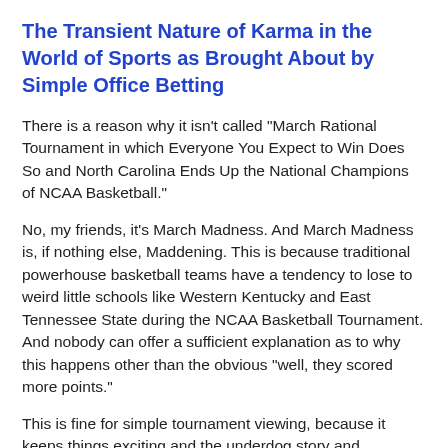The Transient Nature of Karma in the World of Sports as Brought About by Simple Office Betting
There is a reason why it isn't called "March Rational Tournament in which Everyone You Expect to Win Does So and North Carolina Ends Up the National Champions of NCAA Basketball."
No, my friends, it's March Madness. And March Madness is, if nothing else, Maddening. This is because traditional powerhouse basketball teams have a tendency to lose to weird little schools like Western Kentucky and East Tennessee State during the NCAA Basketball Tournament. And nobody can offer a sufficient explanation as to why this happens other than the obvious "well, they scored more points."
This is fine for simple tournament viewing, because it keeps things exciting and the underdog story and Cinderella and all that.